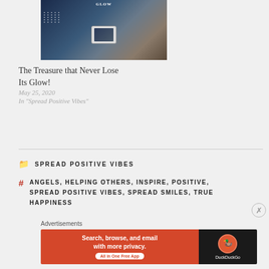[Figure (photo): Group selfie photo with people at a gathering, dark blue overlay with dot grid on left side]
The Treasure that Never Lose Its Glow!
May 25, 2020
In "Spread Positive Vibes"
SPREAD POSITIVE VIBES
ANGELS, HELPING OTHERS, INSPIRE, POSITIVE, SPREAD POSITIVE VIBES, SPREAD SMILES, TRUE HAPPINESS
Advertisements
[Figure (screenshot): DuckDuckGo advertisement banner: Search, browse, and email with more privacy. All in One Free App. DuckDuckGo logo on dark right side.]